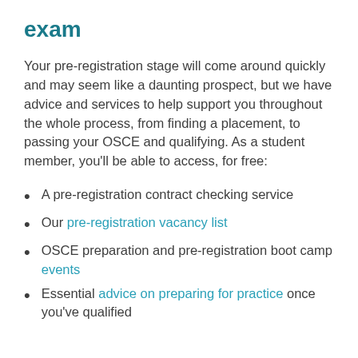exam
Your pre-registration stage will come around quickly and may seem like a daunting prospect, but we have advice and services to help support you throughout the whole process, from finding a placement, to passing your OSCE and qualifying. As a student member, you’ll be able to access, for free:
A pre-registration contract checking service
Our pre-registration vacancy list
OSCE preparation and pre-registration boot camp events
Essential advice on preparing for practice once you’ve qualified